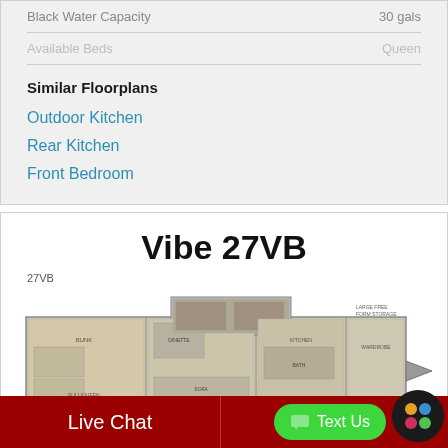| Spec | Value |
| --- | --- |
| Black Water Capacity | 30 gals |
| Available Beds | Queen |
Similar Floorplans
Outdoor Kitchen
Rear Kitchen
Front Bedroom
Vibe 27VB
27VB
[Figure (floorplan): Floorplan diagram of the Vibe 27VB RV trailer showing interior layout with bunk beds, kitchen, bathroom, and living areas]
Live Chat   Text Us